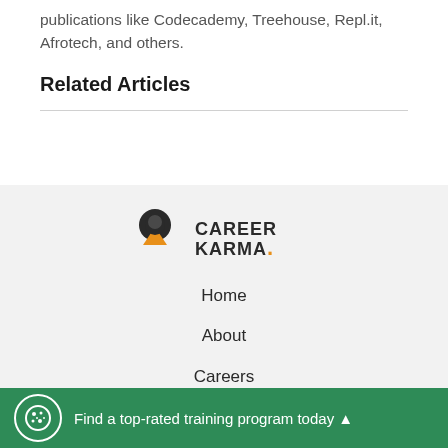publications like Codecademy, Treehouse, Repl.it, Afrotech, and others.
Related Articles
[Figure (logo): Career Karma logo with icon and text]
Home
About
Careers
Mission
Find a top-rated training program today ▲